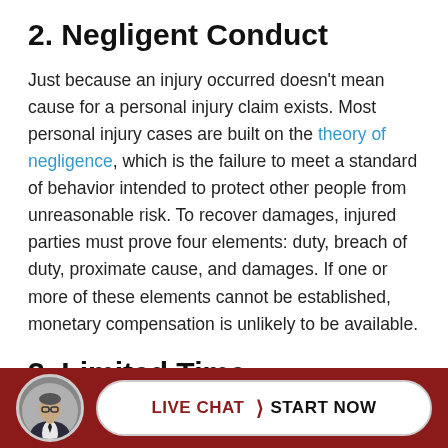2. Negligent Conduct
Just because an injury occurred doesn't mean cause for a personal injury claim exists. Most personal injury cases are built on the theory of negligence, which is the failure to meet a standard of behavior intended to protect other people from unreasonable risk. To recover damages, injured parties must prove four elements: duty, breach of duty, proximate cause, and damages. If one or more of these elements cannot be established, monetary compensation is unlikely to be available.
3. Limited Time
D...
[Figure (infographic): Footer bar with dark red background containing a circular avatar photo of a man in a suit and a white pill-shaped button with 'LIVE CHAT > START NOW' text in red and black]